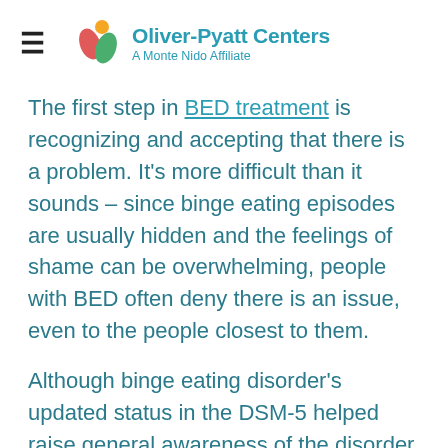Oliver-Pyatt Centers — A Monte Nido Affiliate
The first step in BED treatment is recognizing and accepting that there is a problem. It's more difficult than it sounds – since binge eating episodes are usually hidden and the feelings of shame can be overwhelming, people with BED often deny there is an issue, even to the people closest to them.
Although binge eating disorder's updated status in the DSM-5 helped raise general awareness of the disorder among general practitioners and the public at large, it is estimated only about three percent of